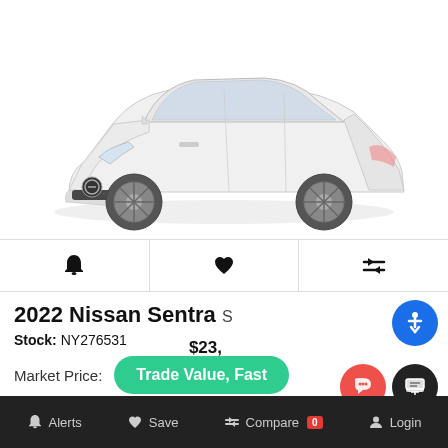[Figure (photo): White 2022 Nissan Sentra S sedan shown from a front three-quarter angle on a white background]
[Figure (infographic): Icon bar with three icons: bell (alerts), heart (save/favorite), and compare arrows]
2022 Nissan Sentra S
Stock: NY276531
Market Price:
Trade Value, Fast
closure
Alerts  Save  Compare 0  Login